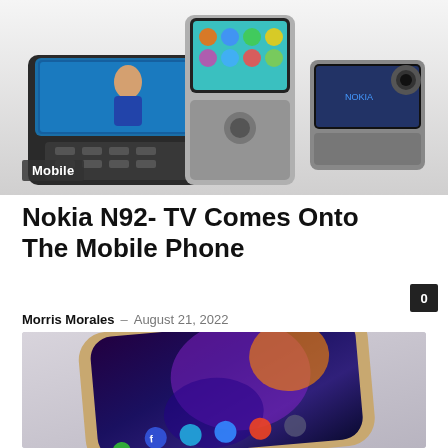[Figure (photo): Multiple Nokia N92 flip phones displayed against white background, showing various angles including open and closed positions with screens visible]
Mobile
Nokia N92- TV Comes Onto The Mobile Phone
Morris Morales – August 21, 2022
[Figure (photo): Samsung Galaxy smartphone lying on a light surface, screen lit showing home screen with app icons including Facebook, with colorful wallpaper]